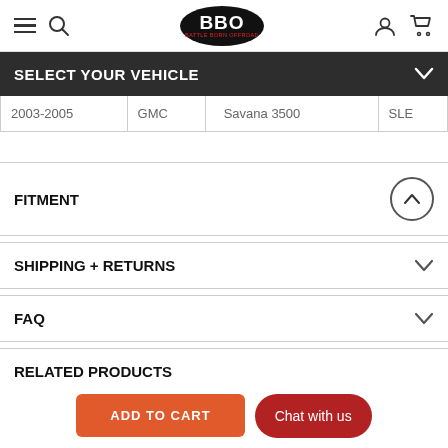Battle Born Offroad - Navigation header with hamburger menu, search, logo, user icon, cart icon
SELECT YOUR VEHICLE
| Year | Make | Model | Trim |
| --- | --- | --- | --- |
| 2003-2005 | GMC | Savana 3500 | SLE |
FITMENT
SHIPPING + RETURNS
FAQ
RELATED PRODUCTS
ADD TO CART
Chat with us